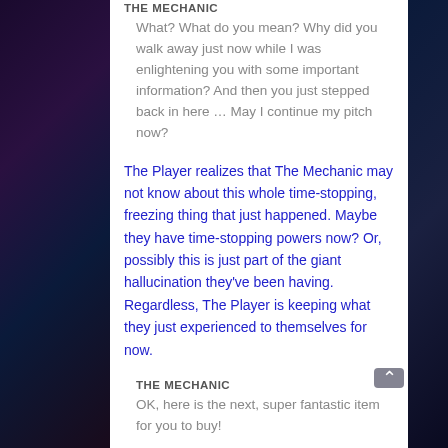THE MECHANIC
What? What do you mean? Why did you walk away just now while I was enlightening you with some important information? And then you just stepped back in here … May I continue my pitch now?
The Player realizes that The Mechanic may not know about this whole time-stopping, freezing thing that just happened. Maybe they have time-stopping powers now? Or, possibly this is just part of the giant hallucination they've been having. Regardless, The Player is keeping what they just experienced to themselves for now.
THE MECHANIC
OK, here is the next, super fantastic item for you to buy!